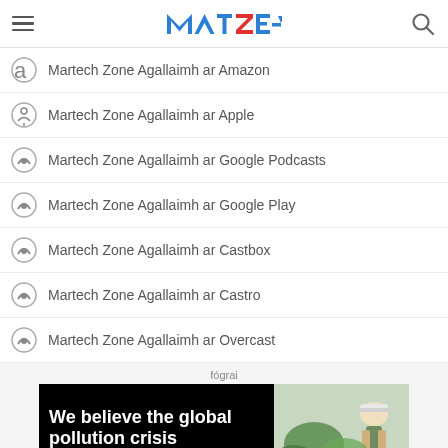MTE (Martech Zone) logo with hamburger menu and search icon
Martech Zone Agallaimh ar Amazon
Martech Zone Agallaimh ar Apple
Martech Zone Agallaimh ar Google Podcasts
Martech Zone Agallaimh ar Google Play
Martech Zone Agallaimh ar Castbox
Martech Zone Agallaimh ar Castro
Martech Zone Agallaimh ar Overcast
fógrai
[Figure (photo): Advertisement banner showing text 'We believe the global pollution crisis' on black background with a person wearing a hard hat among green plants on the right side.]